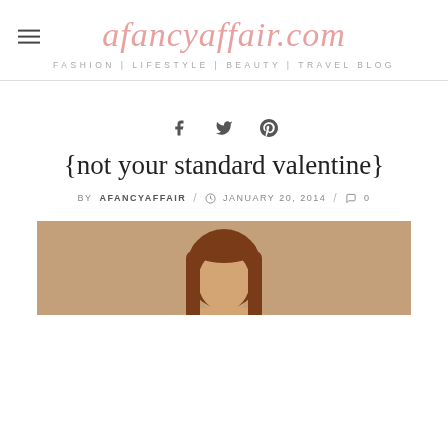afancyaffair.com — FASHION | LIFESTYLE | BEAUTY | TRAVEL BLOG
{not your standard valentine}
BY AFANCYAFFAIR / JANUARY 20, 2014 / 0
[Figure (photo): Photo of a woman with long auburn hair, cropped at the top of the image, on a warm neutral background.]